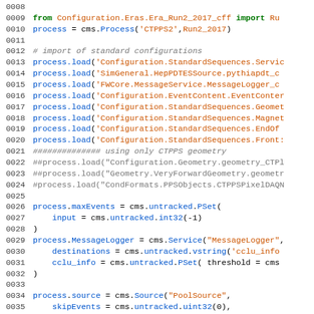[Figure (screenshot): Code editor screenshot showing Python/CMS configuration code with line numbers 0008-0037, syntax highlighted in blue, orange, green, and gray colors on white background.]